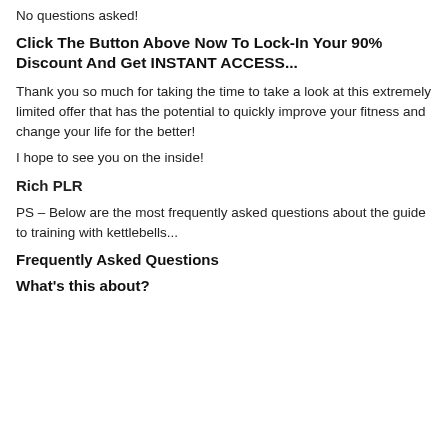No questions asked!
Click The Button Above Now To Lock-In Your 90% Discount And Get INSTANT ACCESS...
Thank you so much for taking the time to take a look at this extremely limited offer that has the potential to quickly improve your fitness and change your life for the better!
I hope to see you on the inside!
Rich PLR
PS – Below are the most frequently asked questions about the guide to training with kettlebells...
Frequently Asked Questions
What's this about?